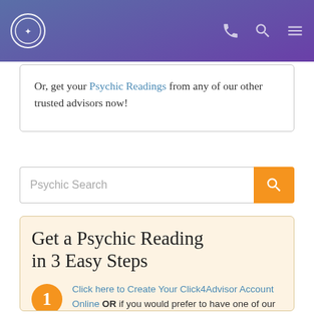Psychic readings website header with logo and navigation icons
Or, get your Psychic Readings from any of our other trusted advisors now!
Psychic Search
Get a Psychic Reading in 3 Easy Steps
Click here to Create Your Click4Advisor Account Online OR if you would prefer to have one of our representatives help you, call 1-800-789-5922 now!
Deposit $1.95 — this will add 10 minutes into your account with a 90% off discount!